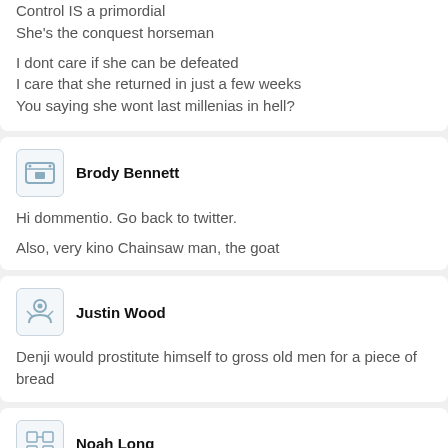Control IS a primordial
She's the conquest horseman

I dont care if she can be defeated
I care that she returned in just a few weeks
You saying she wont last millenias in hell?
Brody Bennett
Hi dommentio. Go back to twitter.

Also, very kino Chainsaw man, the goat
Justin Wood
Denji would prostitute himself to gross old men for a piece of bread
Noah Long
>Control IS a primordial
It was stated that...